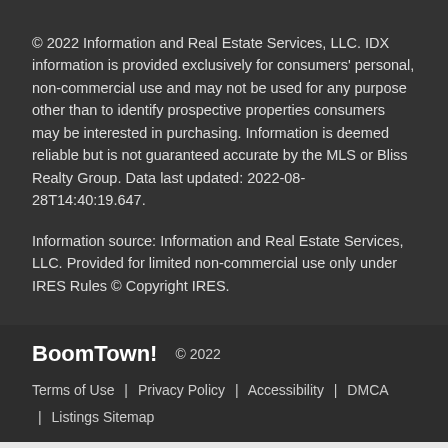© 2022 Information and Real Estate Services, LLC. IDX information is provided exclusively for consumers' personal, non-commercial use and may not be used for any purpose other than to identify prospective properties consumers may be interested in purchasing. Information is deemed reliable but is not guaranteed accurate by the MLS or Bliss Realty Group. Data last updated: 2022-08-28T14:40:19.647.
Information source: Information and Real Estate Services, LLC. Provided for limited non-commercial use only under IRES Rules © Copyright IRES.
BoomTown! © 2022 Terms of Use | Privacy Policy | Accessibility | DMCA | Listings Sitemap
Take a Tour
Ask A Question